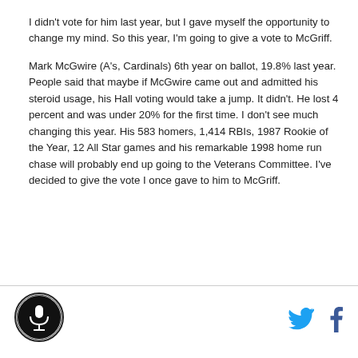I didn't vote for him last year, but I gave myself the opportunity to change my mind. So this year, I'm going to give a vote to McGriff.
Mark McGwire (A's, Cardinals) 6th year on ballot, 19.8% last year. People said that maybe if McGwire came out and admitted his steroid usage, his Hall voting would take a jump. It didn't. He lost 4 percent and was under 20% for the first time. I don't see much changing this year. His 583 homers, 1,414 RBIs, 1987 Rookie of the Year, 12 All Star games and his remarkable 1998 home run chase will probably end up going to the Veterans Committee. I've decided to give the vote I once gave to him to McGriff.
[Figure (logo): Circular logo with microphone icon]